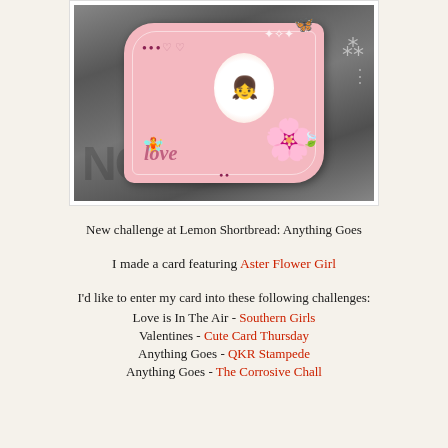[Figure (photo): A handmade greeting card with a pink scalloped/bracket shape featuring a girl with brown hair, large pink flower, green leaves, and 'Love' text in script, displayed against a gray textured background]
New challenge at Lemon Shortbread: Anything Goes
I made a card featuring Aster Flower Girl
I'd like to enter my card into these following challenges:
Love is In The Air - Southern Girls
Valentines - Cute Card Thursday
Anything Goes - QKR Stampede
Anything Goes - The Corrosive Chall...